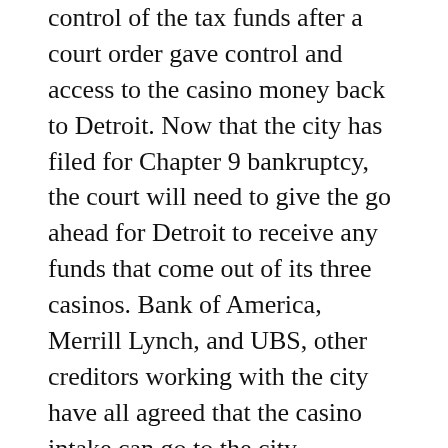of the funds. Synder Holdings, and Rachel lost control of the tax funds after a court order gave control and access to the casino money back to Detroit. Now that the city has filed for Chapter 9 bankruptcy, the court will need to give the go ahead for Detroit to receive any funds that come out of its three casinos. Bank of America, Merrill Lynch, and UBS, other creditors working with the city have all agreed that the casino intake can go to the city.
Casino taxes and their benefits to Detroit come from the Greektown Casino, MGM Grand Detroit, and Motor City Casino. As with many cities, casinos bring jobs, tourism, and extra money that can cover the bills for crucial amenities such as fire crews and police.